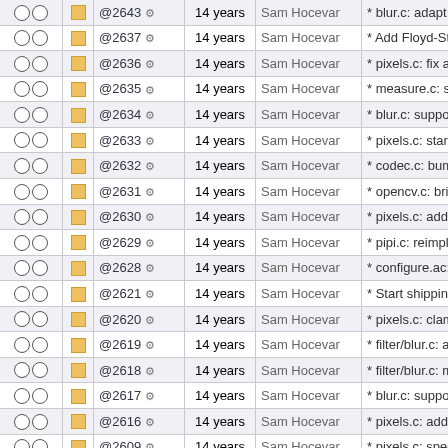|  |  | ID | Age | Author | Message |
| --- | --- | --- | --- | --- | --- |
| ○ ○ | ■ | @2643 ⚙ | 14 years | Sam Hocevar | * blur.c: adapt the ke |
| ○ ○ | ■ | @2637 ⚙ | 14 years | Sam Hocevar | * Add Floyd-Steinber |
| ○ ○ | ■ | @2636 ⚙ | 14 years | Sam Hocevar | * pixels.c: fix a typo i |
| ○ ○ | ■ | @2635 ⚙ | 14 years | Sam Hocevar | * measure.c: started |
| ○ ○ | ■ | @2634 ⚙ | 14 years | Sam Hocevar | * blur.c: support for g |
| ○ ○ | ■ | @2633 ⚙ | 14 years | Sam Hocevar | * pixels.c: start suppe |
| ○ ○ | ■ | @2632 ⚙ | 14 years | Sam Hocevar | * codec.c: bump lmlib |
| ○ ○ | ■ | @2631 ⚙ | 14 years | Sam Hocevar | * opencv.c: bring the |
| ○ ○ | ■ | @2630 ⚙ | 14 years | Sam Hocevar | * pixels.c: add suppo |
| ○ ○ | ■ | @2629 ⚙ | 14 years | Sam Hocevar | * pipi.c: reimplement |
| ○ ○ | ■ | @2628 ⚙ | 14 years | Sam Hocevar | * configure.ac: fix the |
| ○ ○ | ■ | @2621 ⚙ | 14 years | Sam Hocevar | * Start shipping unit t |
| ○ ○ | ■ | @2620 ⚙ | 14 years | Sam Hocevar | * pixels.c: clamp pixe |
| ○ ○ | ■ | @2619 ⚙ | 14 years | Sam Hocevar | * filter/blur.c: avoid a |
| ○ ○ | ■ | @2618 ⚙ | 14 years | Sam Hocevar | * filter/blur.c: minor o |
| ○ ○ | ■ | @2617 ⚙ | 14 years | Sam Hocevar | * blur.c: support for v |
| ○ ○ | ■ | @2616 ⚙ | 14 years | Sam Hocevar | * pixels.c: add Floyd- |
| ○ ○ | ■ | @2609 ⚙ | 14 years | Sam Hocevar | * pixels.c: speed up t |
| ○ ○ | ■ | @2608 ⚙ | 14 years | Sam Hocevar | * blur.c: separated bl |
| ○ ○ | ■ | ... | ... | ... | ... |